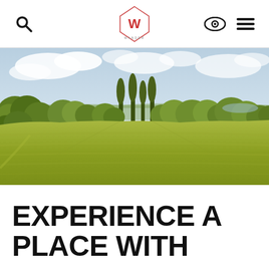Navigation bar with search icon, W logo/brand mark, eye icon, and hamburger menu icon
[Figure (photo): Aerial drone view of a large open green field/meadow with a tree line of mixed deciduous and tall poplar trees in the background, partly cloudy sky, park landscape setting]
EXPERIENCE A PLACE WITH